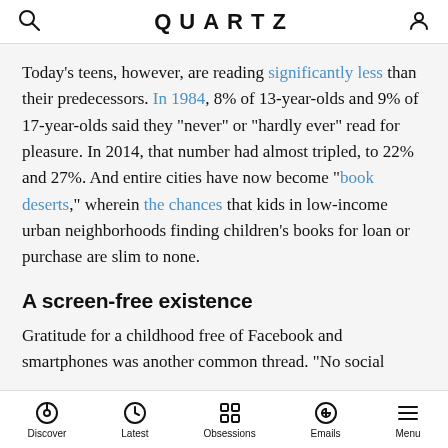QUARTZ
Today’s teens, however, are reading significantly less than their predecessors. In 1984, 8% of 13-year-olds and 9% of 17-year-olds said they “never” or “hardly ever” read for pleasure. In 2014, that number had almost tripled, to 22% and 27%. And entire cities have now become “book deserts,” wherein the chances that kids in low-income urban neighborhoods finding children’s books for loan or purchase are slim to none.
A screen-free existence
Gratitude for a childhood free of Facebook and smartphones was another common thread. “No social
Discover | Latest | Obsessions | Emails | Menu